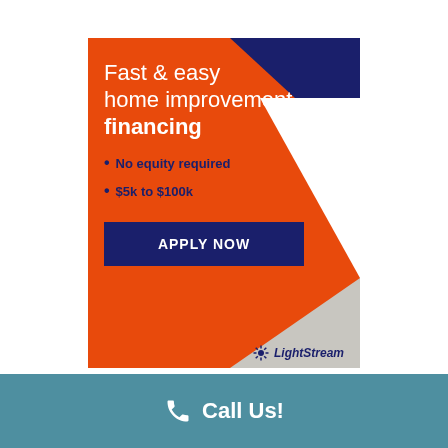[Figure (infographic): LightStream home improvement financing advertisement. Orange background with navy and white geometric triangles. Headline: Fast & easy home improvement financing. Bullet points: No equity required, $5k to $100k. Dark navy Apply Now button. LightStream logo at bottom right.]
Fast & easy home improvement financing
No equity required
$5k to $100k
APPLY NOW
LightStream
Call Us!